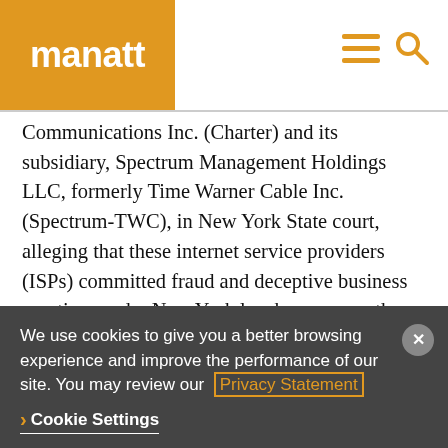manatt
Communications Inc. (Charter) and its subsidiary, Spectrum Management Holdings LLC, formerly Time Warner Cable Inc. (Spectrum-TWC), in New York State court, alleging that these internet service providers (ISPs) committed fraud and deceptive business practices under New York law by, among other things, “throttling” Netflix and other content providers that refused to pay fees to ensure unimpeded internet access to subscribers. Charter
We use cookies to give you a better browsing experience and improve the performance of our site. You may review our Privacy Statement
Cookie Settings